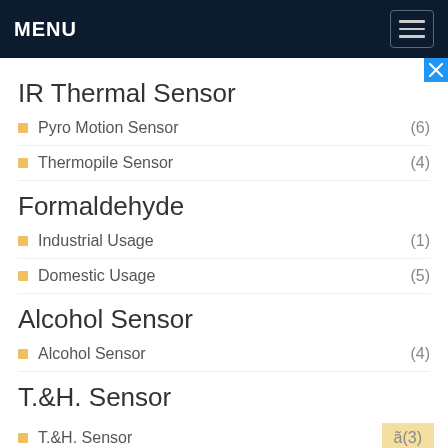MENU
IR Thermal Sensor
Pyro Motion Sensor (6)
Thermopile Sensor (4)
Formaldehyde
Industrial Usage (1)
Domestic Usage (5)
Alcohol Sensor
Alcohol Sensor (4)
T.&H. Sensor
T.&H. Sensor (3)
Others